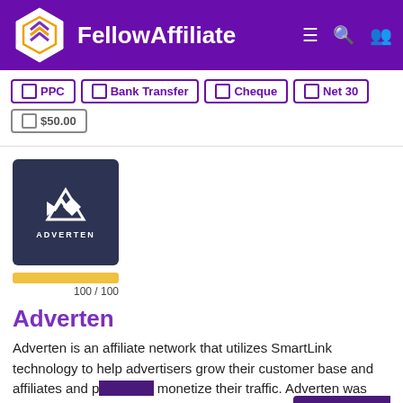FellowAffiliate
PPC
Bank Transfer
Cheque
Net 30
$50.00
[Figure (logo): Adverten logo: dark navy square with white arrow/A icon and text ADVERTEN below]
100 / 100
Adverten
Adverten is an affiliate network that utilizes SmartLink technology to help advertisers grow their customer base and affiliates and publishers monetize their traffic. Adverten was founded back in 2011 and with the help of its team has developed its